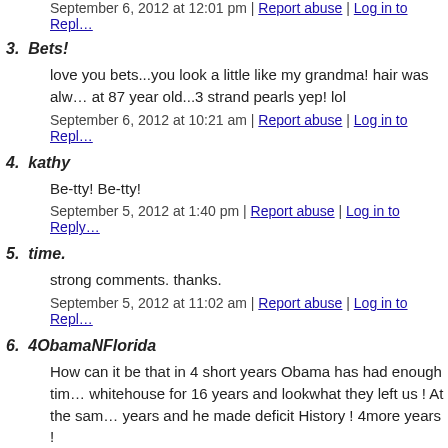September 6, 2012 at 12:01 pm | Report abuse | Log in to Reply
3. Bets!
love you bets...you look a little like my grandma! hair was always at 87 year old...3 strand pearls yep! lol
September 6, 2012 at 10:21 am | Report abuse | Log in to Reply
4. kathy
Be-tty! Be-tty!
September 5, 2012 at 1:40 pm | Report abuse | Log in to Reply
5. time.
strong comments. thanks.
September 5, 2012 at 11:02 am | Report abuse | Log in to Reply
6. 4ObamaNFlorida
How can it be that in 4 short years Obama has had enough time... whitehouse for 16 years and lookwhat they left us ! At the same... years and he made deficit History ! 4more years !
September 5, 2012 at 10:43 am | Report abuse | Log in to Reply
7. 4ObamaNFlorida